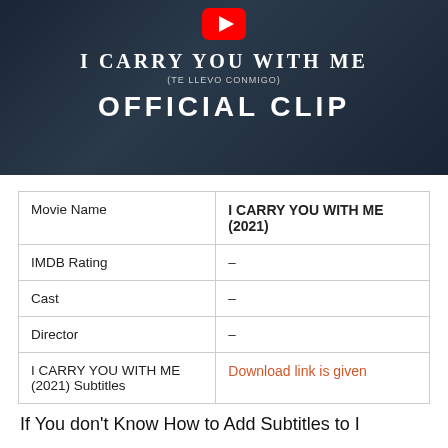[Figure (screenshot): YouTube thumbnail for 'I Carry You With Me (Te Llevo Conmigo) Official Clip' with dark blue rainy background, YouTube play button at top, white bold text overlay]
| Movie Name | I CARRY YOU WITH ME (2021) |
| IMDB Rating | – |
| Cast | – |
| Director | – |
| I CARRY YOU WITH ME (2021) Subtitles | Download link is given |
If You don't Know How to Add Subtitles to I